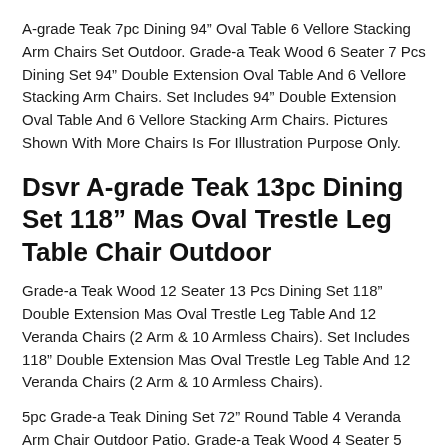A-grade Teak 7pc Dining 94" Oval Table 6 Vellore Stacking Arm Chairs Set Outdoor. Grade-a Teak Wood 6 Seater 7 Pcs Dining Set 94" Double Extension Oval Table And 6 Vellore Stacking Arm Chairs. Set Includes 94" Double Extension Oval Table And 6 Vellore Stacking Arm Chairs. Pictures Shown With More Chairs Is For Illustration Purpose Only.
Dsvr A-grade Teak 13pc Dining Set 118" Mas Oval Trestle Leg Table Chair Outdoor
Grade-a Teak Wood 12 Seater 13 Pcs Dining Set 118" Double Extension Mas Oval Trestle Leg Table And 12 Veranda Chairs (2 Arm & 10 Armless Chairs). Set Includes 118" Double Extension Mas Oval Trestle Leg Table And 12 Veranda Chairs (2 Arm & 10 Armless Chairs).
5pc Grade-a Teak Dining Set 72" Round Table 4 Veranda Arm Chair Outdoor Patio. Grade-a Teak Wood 4 Seater 5 Pcs Dining Set 72" Round Table And 4 Veranda Arm Chair. Round Oval Patio Outdoor Garden Yard Pool Backyard Sideyard Pergola Fireplace Porch Furniture Teak Dining Set Veranda Westministerteak Potterybarn Westminster Teak Pottery Barn Frontgate Arm Captain Chair.
A-grade Teak 13pc Dining 122" Coronas Rectangle Table Cap Stacking Arm